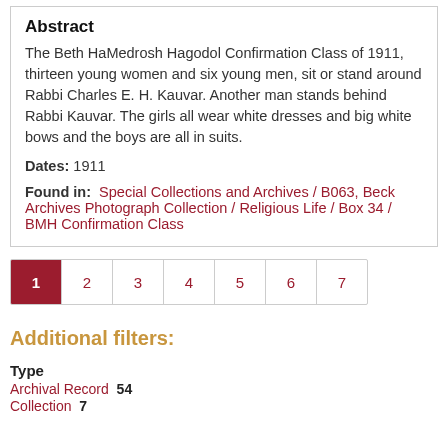Abstract
The Beth HaMedrosh Hagodol Confirmation Class of 1911, thirteen young women and six young men, sit or stand around Rabbi Charles E. H. Kauvar. Another man stands behind Rabbi Kauvar. The girls all wear white dresses and big white bows and the boys are all in suits.
Dates: 1911
Found in: Special Collections and Archives / B063, Beck Archives Photograph Collection / Religious Life / Box 34 / BMH Confirmation Class
1 2 3 4 5 6 7
Additional filters:
Type
Archival Record  54
Collection  7